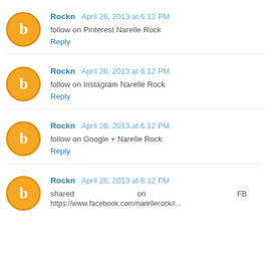Rockn  April 26, 2013 at 6:12 PM
follow on Pinterest Narelle Rock
Reply
Rockn  April 26, 2013 at 6:12 PM
follow on Instagram Narelle Rock
Reply
Rockn  April 26, 2013 at 6:12 PM
follow on Google + Narelle Rock
Reply
Rockn  April 26, 2013 at 6:12 PM
shared on FB
https://www.facebook.com/narellerock#...